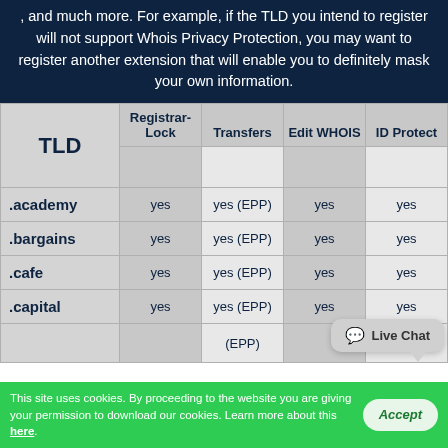, and much more. For example, if the TLD you intend to register will not support Whois Privacy Protection, you may want to register another extension that will enable you to definitely mask your own information.
| TLD | Registrar-Lock | Transfers | Edit WHOIS | ID Protect |
| --- | --- | --- | --- | --- |
| .academy | yes | yes (EPP) | yes | yes |
| .bargains | yes | yes (EPP) | yes | yes |
| .cafe | yes | yes (EPP) | yes | yes |
| .capital | yes | yes (EPP) | yes | yes |
This site uses cookies. By proceeding to the website you are giving your permission to download our cookies. Learn more about this here.